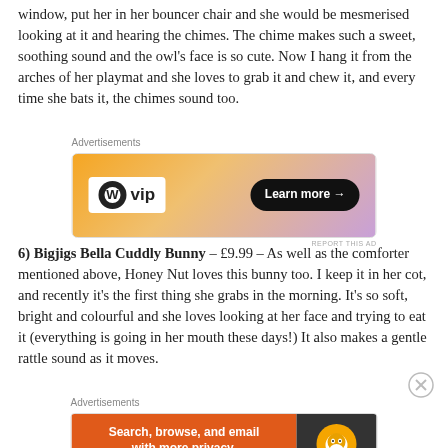window, put her in her bouncer chair and she would be mesmerised looking at it and hearing the chimes. The chime makes such a sweet, soothing sound and the owl's face is so cute. Now I hang it from the arches of her playmat and she loves to grab it and chew it, and every time she bats it, the chimes sound too.
[Figure (other): WordPress VIP advertisement banner with gradient orange-pink-purple background, WordPress logo on white background on the left, and a black 'Learn more →' button on the right]
6) Bigjigs Bella Cuddly Bunny – £9.99 – As well as the comforter mentioned above, Honey Nut loves this bunny too. I keep it in her cot, and recently it's the first thing she grabs in the morning. It's so soft, bright and colourful and she loves looking at her face and trying to eat it (everything is going in her mouth these days!) It also makes a gentle rattle sound as it moves.
[Figure (other): DuckDuckGo advertisement banner: orange left section with text 'Search, browse, and email with more privacy. All in One Free App' and dark right section with DuckDuckGo duck logo]